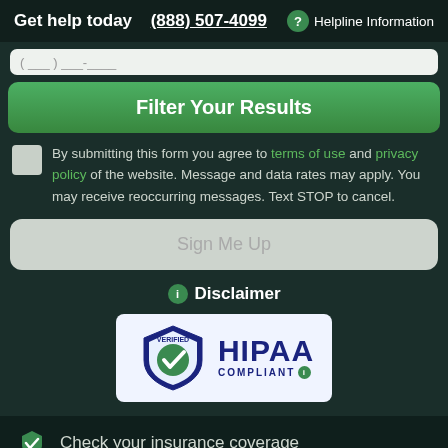Get help today  (888) 507-4099  ? Helpline Information
[Figure (screenshot): Partial input bar (phone number entry field, clipped)]
Filter Your Results
By submitting this form you agree to terms of use and privacy policy of the website. Message and data rates may apply. You may receive reoccurring messages. Text STOP to cancel.
[Figure (screenshot): Sign Me Up button (greyed out, inactive)]
Disclaimer
[Figure (logo): VERIFIED HIPAA COMPLIANT badge with shield and checkmark]
Check your insurance coverage